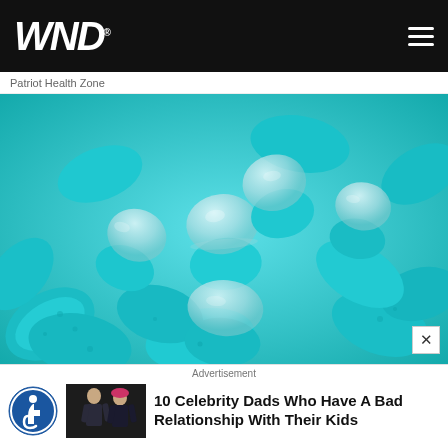WND
Patriot Health Zone
[Figure (photo): Close-up photo of transparent capsule pills filled with teal/turquoise granules, scattered together in a pile]
Advertisement
10 Celebrity Dads Who Have A Bad Relationship With Their Kids